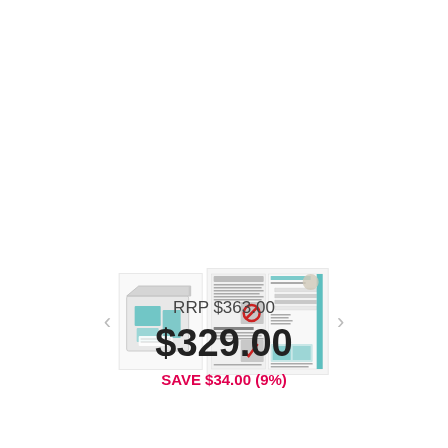[Figure (photo): Product kit box with teal/turquoise colored items visible inside a white box, shown from an angle]
[Figure (photo): Brochure/instruction leaflet showing tile installation guide with red circle-slash symbol (incorrect method) and red checkmark (correct method), plus GHAO Makeover Set text]
[Figure (photo): Product information card showing layered tile system diagram with teal accents on right side, and product images at bottom]
RRP $363.00
$329.00
SAVE $34.00 (9%)